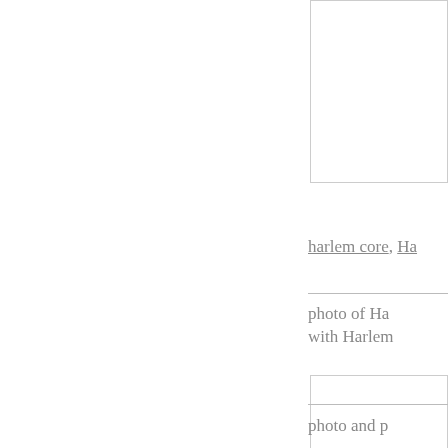[Figure (photo): Rectangular image placeholder box at top right of page, partially visible]
harlem core, Ha…
[Figure (photo): Rectangular image placeholder box, second image partially visible at right]
photo of Ha… with Harlem…
photo and p…